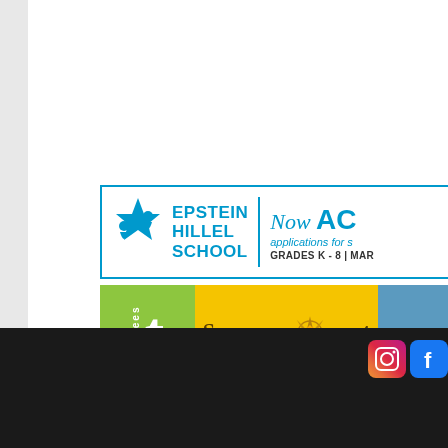[Figure (logo): Epstein Hillel School advertisement banner with teal logo showing two figures and a star, text reads 'EPSTEIN HILLEL SCHOOL' and 'Now AC... applications for s... GRADES K - 8 | MAR...']
[Figure (logo): SummerQuest advertisement banner with green left panel showing letter 't' and word 'trustees', yellow middle panel with compass rose graphic and text 'Summer Quest', orange-tinted right panel with photo of people kayaking]
[Figure (screenshot): Dark footer bar with Instagram icon and Facebook icon visible in upper right]